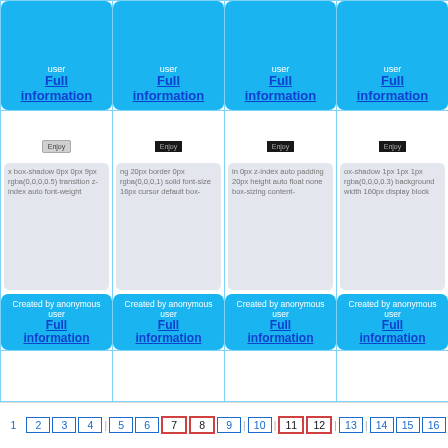[Figure (screenshot): Top row of 4 grid cells each containing a blue card with 'Created by anonymous user' text and 'Full information' link]
[Figure (screenshot): Second row of 4 grid cells each containing an Enjoy button (varying darkness) and CSS property text in a grey rounded box, with a blue card at the bottom showing 'Created by anonymous user' and 'Full information' link]
[Figure (screenshot): Third row of 4 partially visible empty grid cells]
Pagination: 1 2 3 4 5 6 7 8 9 10 11 12 13 14 15 16